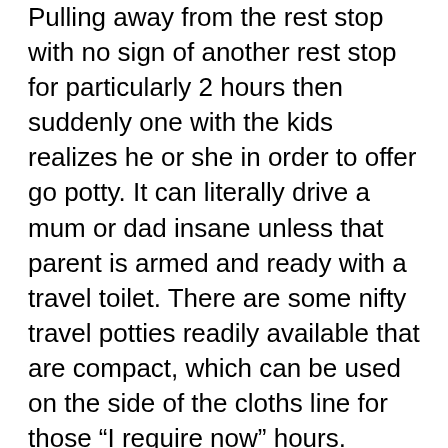Pulling away from the rest stop with no sign of another rest stop for particularly 2 hours then suddenly one with the kids realizes he or she in order to offer go potty. It can literally drive a mum or dad insane unless that parent is armed and ready with a travel toilet. There are some nifty travel potties readily available that are compact, which can be used on the side of the cloths line for those “I require now” hours. There is also a urinal with a woman adapter that even airplane pilots use because if you need to go, you have to go. I carry both travel potty and travel urinal in our car generally.
Let me give an example of this client of mine we treat. He / she is about six foot four and weighs 290lbs. He has become biggest client